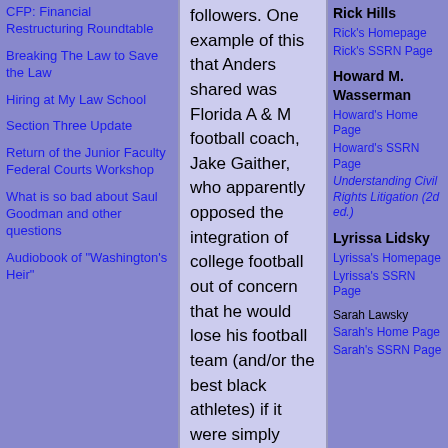CFP: Financial Restructuring Roundtable
Breaking The Law to Save the Law
Hiring at My Law School
Section Three Update
Return of the Junior Faculty Federal Courts Workshop
What is so bad about Saul Goodman and other questions
Audiobook of "Washington's Heir"
followers. One example of this that Anders shared was Florida A & M football coach, Jake Gaither, who apparently opposed the integration of college football out of concern that he would lose his football team (and/or the best black athletes) if it were simply absorbed into the UF or FSU sports umbrella.
This dynamic of course creates a kind of (minoritarian) "interest convergence" between some white and black Southerners who shared concerns with the "we can't wait any longer" goals for desegregation. To my mind, there's a fascinating story to be told (by Anders) that connects this cultural reaction to the "perils" of Brown to the arguments Powell, who himself expressed appreciation for cultural/racial pluralism at the time of Brown, makes later on in his Bakke opinion regarding the desirability of respecting the benefits of
Rick Hills
Rick's Homepage
Rick's SSRN Page
Howard M. Wasserman
Howard's Home Page
Howard's SSRN Page
Understanding Civil Rights Litigation (2d ed.)
Lyrissa Lidsky
Lyrissa's Homepage
Lyrissa's SSRN Page
Sarah Lawsky
Sarah's Home Page
Sarah's SSRN Page